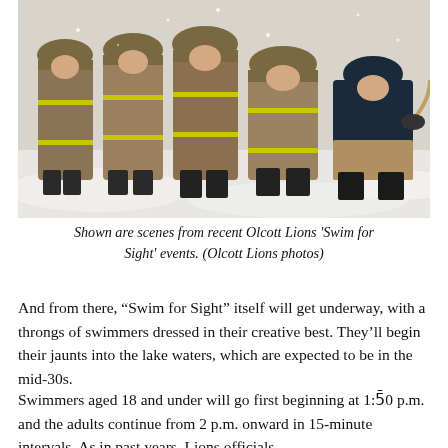[Figure (photo): Firefighters in full gear with yellow reflective stripes crouching and pulling a rope in snowy conditions outdoors.]
Shown are scenes from recent Olcott Lions 'Swim for Sight' events. (Olcott Lions photos)
And from there, “Swim for Sight” itself will get underway, with a throngs of swimmers dressed in their creative best. They’ll begin their jaunts into the lake waters, which are expected to be in the mid-30s.
Swimmers aged 18 and under will go first beginning at 1:50 p.m. and the adults continue from 2 p.m. onward in 15-minute intervals. As in past years, Lions officials